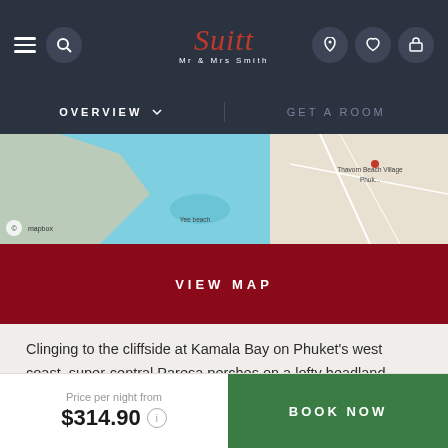Mr & Mrs Smith — navigation bar with logo, menu, search, phone, wishlist, luggage icons
OVERVIEW  ∨    GET A ROOM
[Figure (map): Mapbox map showing Kamala Bay area on Phuket's west coast, with light blue sea, roads, Thavorn Beach Village label, Yee beach label]
VIEW MAP
Clinging to the cliffside at Kamala Bay on Phuket's west coast, super-central Paresa perches on a lofty headland between buzzy Patong and Surin bays, but is an exclusive escape from the crowds.
Planes
Help?
Price per night from $314.90
BOOK NOW